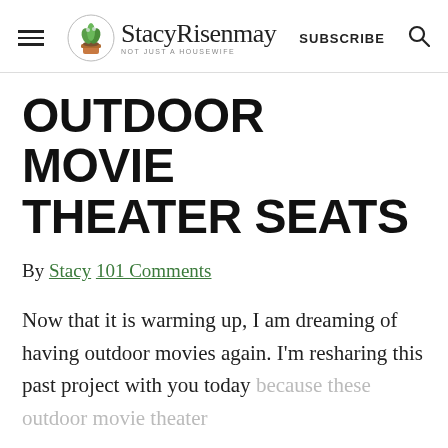StacyRisenmay | Not Just a Housewife — SUBSCRIBE
OUTDOOR MOVIE THEATER SEATS
By Stacy 101 Comments
Now that it is warming up, I am dreaming of having outdoor movies again. I'm resharing this past project with you today because these outdoor movie theater